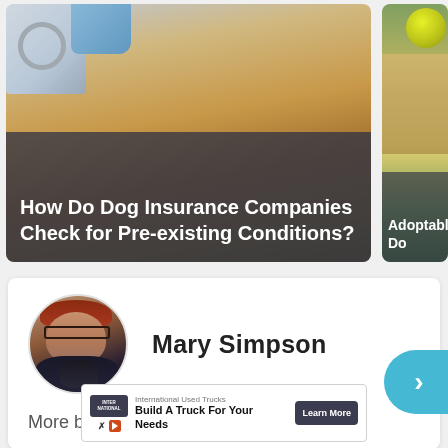[Figure (photo): Photo card of a veterinarian in white coat with blue gloves examining a golden/brown dog. Dark overlay at bottom with white title text.]
How Do Dog Insurance Companies Check for Pre-existing Conditions?
[Figure (photo): Partial photo card showing a dog with a green tennis ball. Dark overlay with partial title text 'Adoptable Do...']
Adoptable Do
[Figure (photo): Circular author avatar photo of Mary Simpson, a woman with red/auburn hair wearing glasses and a dark top, holding a pet.]
Mary Simpson
More by Mary Simpson
[Figure (other): Light blue circular arrow/chevron button pointing right, partially cut off at right edge.]
[Figure (other): Advertisement banner: International Used Trucks - Build A Truck For Your Needs. Learn More button.]